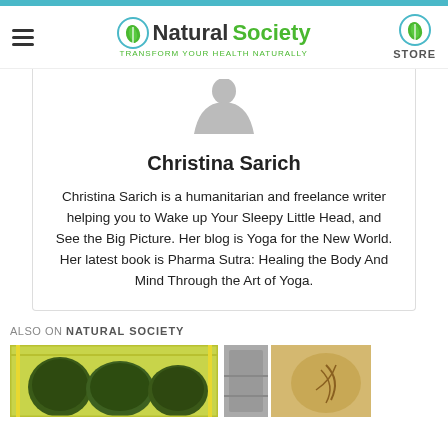Natural Society — Transform your health naturally | STORE
[Figure (illustration): Partial grey silhouette of a person's shoulders/head (author avatar placeholder)]
Christina Sarich
Christina Sarich is a humanitarian and freelance writer helping you to Wake up Your Sleepy Little Head, and See the Big Picture. Her blog is Yoga for the New World. Her latest book is Pharma Sutra: Healing the Body And Mind Through the Art of Yoga.
ALSO ON NATURAL SOCIETY
[Figure (photo): Photo of green avocados in a yellow basket/crate]
[Figure (photo): Two side-by-side images: grey textured surface and a wooden/tan egg-like surface with carved symbol]